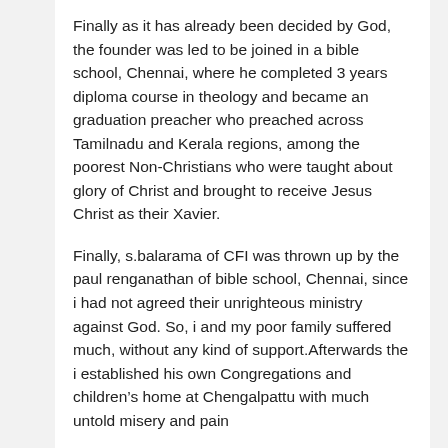Finally as it has already been decided by God, the founder was led to be joined in a bible school, Chennai, where he completed 3 years diploma course in theology and became an graduation preacher who preached across Tamilnadu and Kerala regions, among the poorest Non-Christians who were taught about glory of Christ and brought to receive Jesus Christ as their Xavier.
Finally, s.balarama of CFI was thrown up by the paul renganathan of bible school, Chennai, since i had not agreed their unrighteous ministry against God. So, i and my poor family suffered much, without any kind of support.Afterwards the i established his own Congregations and children's home at Chengalpattu with much untold misery and pain
your in Christ,